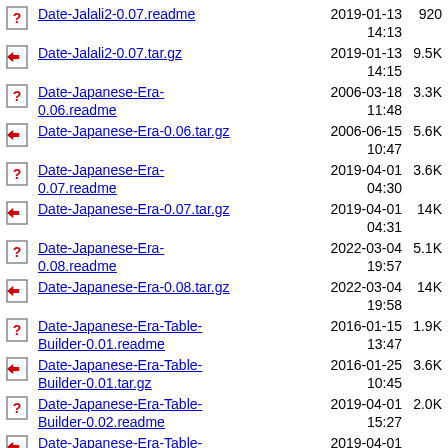Date-Jalali2-0.07.readme 2019-01-13 14:13 920
Date-Jalali2-0.07.tar.gz 2019-01-13 14:15 9.5K
Date-Japanese-Era-0.06.readme 2006-03-18 11:48 3.3K
Date-Japanese-Era-0.06.tar.gz 2006-06-15 10:47 5.6K
Date-Japanese-Era-0.07.readme 2019-04-01 04:30 3.6K
Date-Japanese-Era-0.07.tar.gz 2019-04-01 04:31 14K
Date-Japanese-Era-0.08.readme 2022-03-04 19:57 5.1K
Date-Japanese-Era-0.08.tar.gz 2022-03-04 19:58 14K
Date-Japanese-Era-Table-Builder-0.01.readme 2016-01-15 13:47 1.9K
Date-Japanese-Era-Table-Builder-0.01.tar.gz 2016-01-25 10:45 3.6K
Date-Japanese-Era-Table-Builder-0.02.readme 2019-04-01 15:27 2.0K
Date-Japanese-Era-Table- 2019-04-01